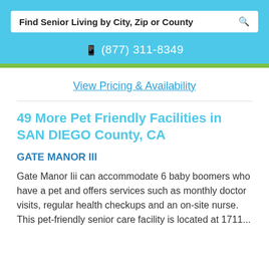Find Senior Living by City, Zip or County
(877) 311-8349
View Pricing & Availability
49 More Pet Friendly Facilities in SAN DIEGO County, CA
GATE MANOR III
Gate Manor Iii can accommodate 6 baby boomers who have a pet and offers services such as monthly doctor visits, regular health checkups and an on-site nurse. This pet-friendly senior care facility is located at 1711...